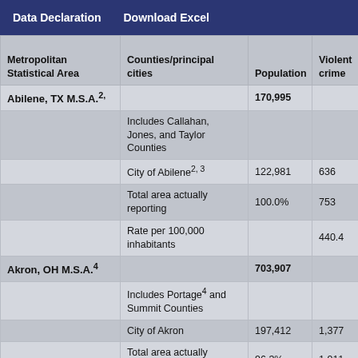Data Declaration    Download Excel
| Metropolitan Statistical Area | Counties/principal cities | Population | Violent crime | Murder nonneg. mansla... |
| --- | --- | --- | --- | --- |
| Abilene, TX M.S.A.2, |  | 170,995 |  |  |
|  | Includes Callahan, Jones, and Taylor Counties |  |  |  |
|  | City of Abilene2, 3 | 122,981 | 636 | 4 |
|  | Total area actually reporting | 100.0% | 753 | 7 |
|  | Rate per 100,000 inhabitants |  | 440.4 | 4.1 |
| Akron, OH M.S.A.4 |  | 703,907 |  |  |
|  | Includes Portage4 and Summit Counties |  |  |  |
|  | City of Akron | 197,412 | 1,377 | 42 |
|  | Total area actually reporting | 96.3% | 1,911 | 51 |